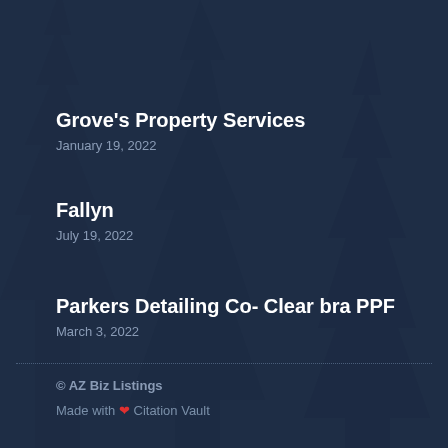Grove's Property Services
January 19, 2022
Fallyn
July 19, 2022
Parkers Detailing Co- Clear bra PPF
March 3, 2022
© AZ Biz Listings
Made with ♥ Citation Vault